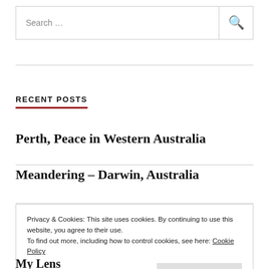Search …
RECENT POSTS
Perth, Peace in Western Australia
Meandering – Darwin, Australia
Privacy & Cookies: This site uses cookies. By continuing to use this website, you agree to their use. To find out more, including how to control cookies, see here: Cookie Policy
Close and accept
My Lens